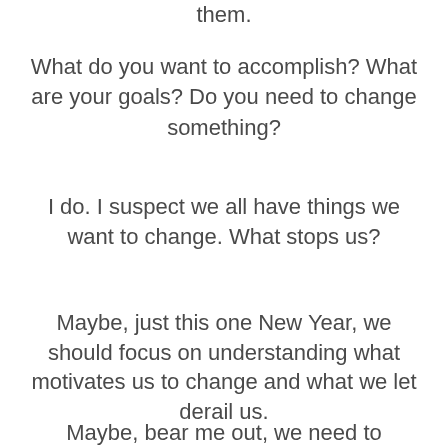them.
What do you want to accomplish? What are your goals? Do you need to change something?
I do. I suspect we all have things we want to change. What stops us?
Maybe, just this one New Year, we should focus on understanding what motivates us to change and what we let derail us.
Maybe, bear me out, we need to